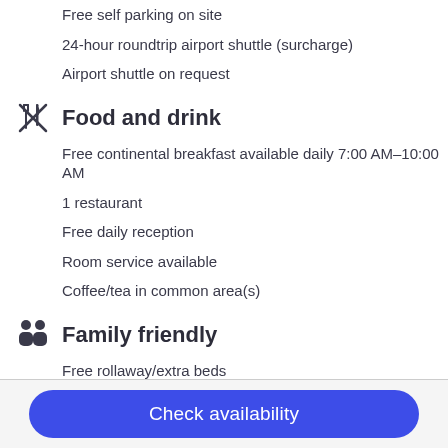Free self parking on site
24-hour roundtrip airport shuttle (surcharge)
Airport shuttle on request
Food and drink
Free continental breakfast available daily 7:00 AM–10:00 AM
1 restaurant
Free daily reception
Room service available
Coffee/tea in common area(s)
Family friendly
Free rollaway/extra beds
Full-sized refrigerator
Laundry facilities
Microwave
Check availability